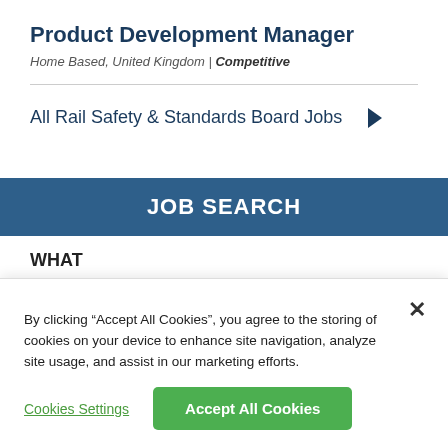Product Development Manager
Home Based, United Kingdom | Competitive
All Rail Safety & Standards Board Jobs →
JOB SEARCH
WHAT
Enter job title or search phrase
By clicking “Accept All Cookies”, you agree to the storing of cookies on your device to enhance site navigation, analyze site usage, and assist in our marketing efforts.
Cookies Settings
Accept All Cookies